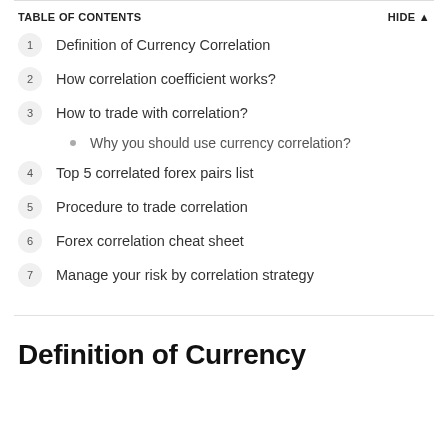TABLE OF CONTENTS
1  Definition of Currency Correlation
2  How correlation coefficient works?
3  How to trade with correlation?
Why you should use currency correlation?
4  Top 5 correlated forex pairs list
5  Procedure to trade correlation
6  Forex correlation cheat sheet
7  Manage your risk by correlation strategy
Definition of Currency